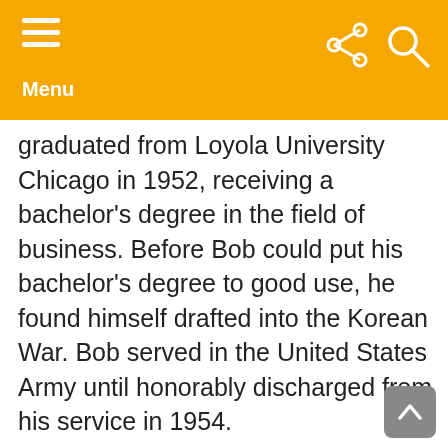Menu
graduated from Loyola University Chicago in 1952, receiving a bachelor's degree in the field of business. Before Bob could put his bachelor's degree to good use, he found himself drafted into the Korean War. Bob served in the United States Army until honorably discharged from his service in 1954.